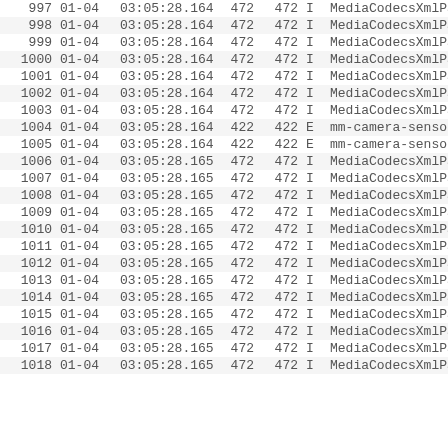| # | Date | Time | PID | TID | Level | Tag |
| --- | --- | --- | --- | --- | --- | --- |
| 997 | 01-04 | 03:05:28.164 | 472 | 472 | I | MediaCodecsXmlPars |
| 998 | 01-04 | 03:05:28.164 | 472 | 472 | I | MediaCodecsXmlPars |
| 999 | 01-04 | 03:05:28.164 | 472 | 472 | I | MediaCodecsXmlPars |
| 1000 | 01-04 | 03:05:28.164 | 472 | 472 | I | MediaCodecsXmlPars |
| 1001 | 01-04 | 03:05:28.164 | 472 | 472 | I | MediaCodecsXmlPars |
| 1002 | 01-04 | 03:05:28.164 | 472 | 472 | I | MediaCodecsXmlPars |
| 1003 | 01-04 | 03:05:28.164 | 472 | 472 | I | MediaCodecsXmlPars |
| 1004 | 01-04 | 03:05:28.164 | 422 | 422 | E | mm-camera-sensor: |
| 1005 | 01-04 | 03:05:28.164 | 422 | 422 | E | mm-camera-sensor: |
| 1006 | 01-04 | 03:05:28.165 | 472 | 472 | I | MediaCodecsXmlPars |
| 1007 | 01-04 | 03:05:28.165 | 472 | 472 | I | MediaCodecsXmlPars |
| 1008 | 01-04 | 03:05:28.165 | 472 | 472 | I | MediaCodecsXmlPars |
| 1009 | 01-04 | 03:05:28.165 | 472 | 472 | I | MediaCodecsXmlPars |
| 1010 | 01-04 | 03:05:28.165 | 472 | 472 | I | MediaCodecsXmlPars |
| 1011 | 01-04 | 03:05:28.165 | 472 | 472 | I | MediaCodecsXmlPars |
| 1012 | 01-04 | 03:05:28.165 | 472 | 472 | I | MediaCodecsXmlPars |
| 1013 | 01-04 | 03:05:28.165 | 472 | 472 | I | MediaCodecsXmlPars |
| 1014 | 01-04 | 03:05:28.165 | 472 | 472 | I | MediaCodecsXmlPars |
| 1015 | 01-04 | 03:05:28.165 | 472 | 472 | I | MediaCodecsXmlPars |
| 1016 | 01-04 | 03:05:28.165 | 472 | 472 | I | MediaCodecsXmlPars |
| 1017 | 01-04 | 03:05:28.165 | 472 | 472 | I | MediaCodecsXmlPars |
| 1018 | 01-04 | 03:05:28.165 | 472 | 472 | I | MediaCodecsXmlPars |